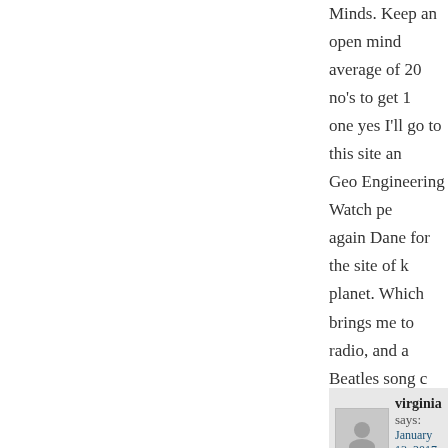Minds. Keep an open mind... average of 20 no's to get 1 one yes I'll go to this site an... Geo Engineering Watch pe... again Dane for the site of k... planet. Which brings me to radio, and a Beatles song c... words made me cry. If you g... going people, I know those here posting comments, for the young know the truth, b... the purposes are for, and it' being told. We must straigh...
virginia says:
January 13, 2017 a
Sea: A timely and meaningf... what we would all do if this personally, ha...